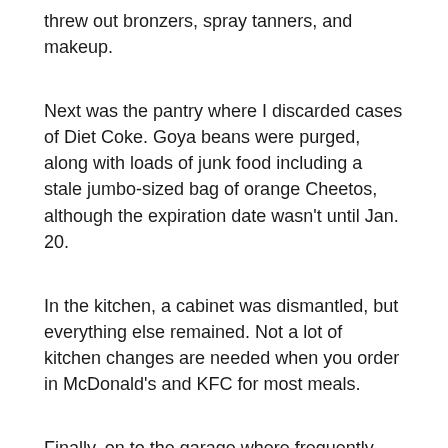threw out bronzers, spray tanners, and makeup.
Next was the pantry where I discarded cases of Diet Coke. Goya beans were purged, along with loads of junk food including a stale jumbo-sized bag of orange Cheetos, although the expiration date wasn't until Jan. 20.
In the kitchen, a cabinet was dismantled, but everything else remained. Not a lot of kitchen changes are needed when you order in McDonald's and KFC for most meals.
Finally, on to the garage where frequently used golf clubs are now gone (though cheating on golf scores will continue). Packages of unused face masks were also donated. Thinking back, those masks should have been worn much earlier considering an unfortunate diagnosis received in early October resulting in a three day hospital stay at Walter Reed. All those items